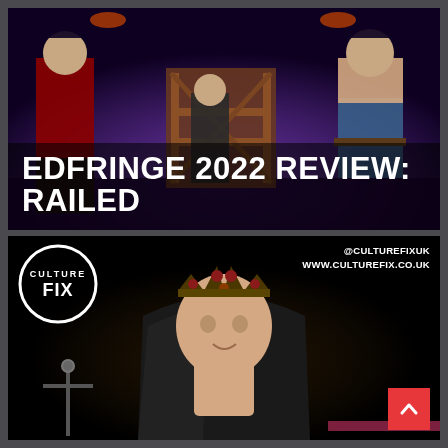[Figure (photo): Theatre stage scene with three performers: one in red shirt on left, one in dark vest at a wooden railed structure center, one shirtless in jeans on right, against purple stage lighting]
EDFRINGE 2022 REVIEW: RAILED
[Figure (photo): Performer wearing a jewelled crown and open black cape, smiling at camera against dark background. Culture Fix logo circle in top-left corner. Social handles @CULTUREFIXUK and www.culturefix.co.uk in top-right. Red scroll-to-top button with upward chevron in bottom-right.]